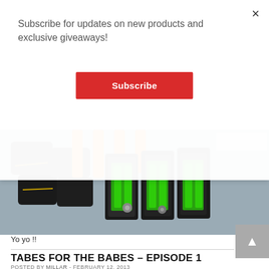Subscribe for updates on new products and exclusive giveaways!
Subscribe
[Figure (photo): Bicycle tubes and green grip accessories laid out on a gray surface with orange tire levers]
Yo yo !!
TABES FOR THE BABES – EPISODE 1
POSTED BY MILLAR - FEBRUARY 12, 2013
Ryan Gusller has been busy working on a series of road trip